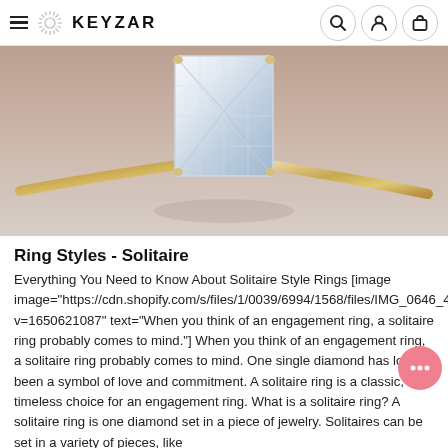KEYZAR
[Figure (photo): Close-up photo of a radiant cut diamond solitaire engagement ring on a gold band, set against a soft beige/pink background.]
Ring Styles - Solitaire
Everything You Need to Know About Solitaire Style Rings  [image image="https://cdn.shopify.com/s/files/1/0039/6994/1568/files/IMG_0646_4* v=1650621087" text="When you think of an engagement ring, a solitaire ring probably comes to mind."] When you think of an engagement ring, a solitaire ring probably comes to mind. One single diamond has long been a symbol of love and commitment. A solitaire ring is a classic, timeless choice for an engagement ring. What is a solitaire ring? A solitaire ring is one diamond set in a piece of jewelry. Solitaires can be set in a variety of pieces, like